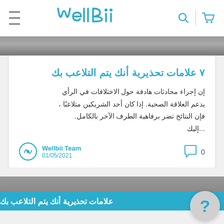WellBii
[Figure (photo): Black and white photo strip at top of article card]
٧ علامات تحذيرية أنك يتم التلاعب بك
إن إجراء محادثات هادفة حول الاختلافات في الرأي يدعم العلاقة الصحية. إذا كان أحد الشريكين متلاعبًا ، فإن النتائج تضر برفاهية الطرف الآخر بالكامل. ...إليك
Wellbii Team
01/05/2021
[Figure (photo): Bottom article preview image with title overlay: علامات تحذيرية أنك يتم التلاعب بك]